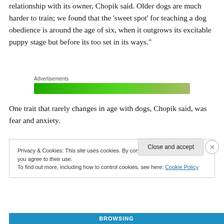relationship with its owner, Chopik said. Older dogs are much harder to train; we found that the ‘sweet spot’ for teaching a dog obedience is around the age of six, when it outgrows its excitable puppy stage but before its too set in its ways."
[Figure (other): Green advertisement banner labeled 'Advertisements']
One trait that rarely changes in age with dogs, Chopik said, was fear and anxiety.
Privacy & Cookies: This site uses cookies. By continuing to use this website, you agree to their use.
To find out more, including how to control cookies, see here: Cookie Policy
Close and accept